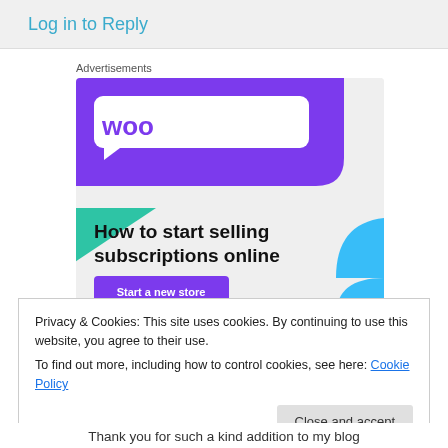Log in to Reply
Advertisements
[Figure (illustration): WooCommerce advertisement banner with purple header, WooCommerce logo, green triangle shape, blue arc, headline 'How to start selling subscriptions online', and a purple 'Start a new store' button.]
Privacy & Cookies: This site uses cookies. By continuing to use this website, you agree to their use.
To find out more, including how to control cookies, see here: Cookie Policy
Close and accept
Thank you for such a kind addition to my blog